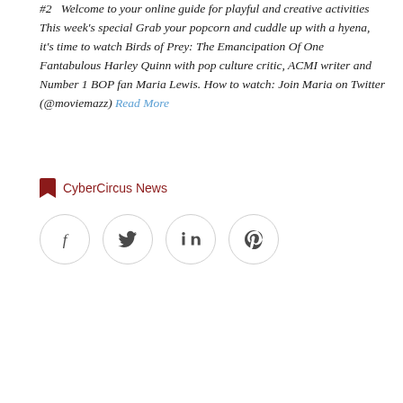#2   Welcome to your online guide for playful and creative activities This week's special Grab your popcorn and cuddle up with a hyena, it's time to watch Birds of Prey: The Emancipation Of One Fantabulous Harley Quinn with pop culture critic, ACMI writer and Number 1 BOP fan Maria Lewis. How to watch: Join Maria on Twitter (@moviemazz) Read More
CyberCircus News
[Figure (other): Social share buttons: Facebook, Twitter, LinkedIn, Pinterest — circular outlined icons]